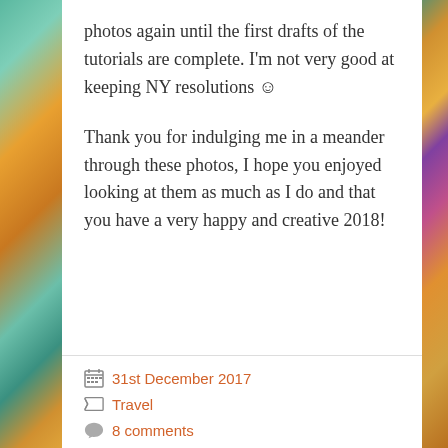photos again until the first drafts of the tutorials are complete. I'm not very good at keeping NY resolutions ☺
Thank you for indulging me in a meander through these photos, I hope you enjoyed looking at them as much as I do and that you have a very happy and creative 2018!
31st December 2017 | Travel | 8 comments